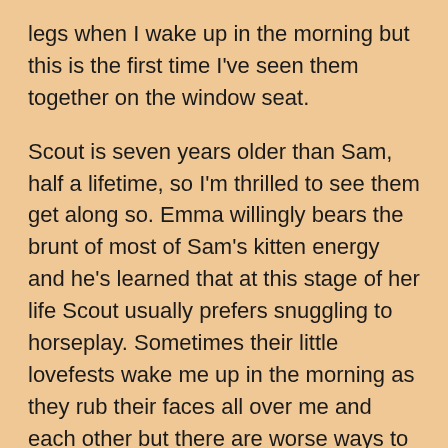legs when I wake up in the morning but this is the first time I've seen them together on the window seat.

Scout is seven years older than Sam, half a lifetime, so I'm thrilled to see them get along so. Emma willingly bears the brunt of most of Sam's kitten energy and he's learned that at this stage of her life Scout usually prefers snuggling to horseplay. Sometimes their little lovefests wake me up in the morning as they rub their faces all over me and each other but there are worse ways to wake.